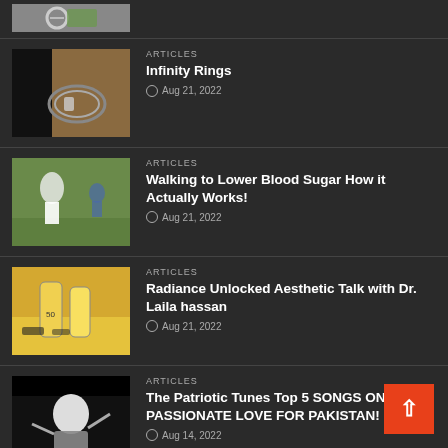[Figure (photo): Partial thumbnail of a ring image at top]
[Figure (photo): Close-up photo of infinity ring on finger]
ARTICLES
Infinity Rings
Aug 21, 2022
[Figure (photo): People walking on a path outdoors]
ARTICLES
Walking to Lower Blood Sugar How it Actually Works!
Aug 21, 2022
[Figure (photo): Sunscreen bottles on a yellow surface]
ARTICLES
Radiance Unlocked Aesthetic Talk with Dr. Laila hassan
Aug 21, 2022
[Figure (photo): Singer with arms raised, Pakistani patriotic article]
ARTICLES
The Patriotic Tunes Top 5 SONGS ON PASSIONATE LOVE FOR PAKISTAN!
Aug 14, 2022